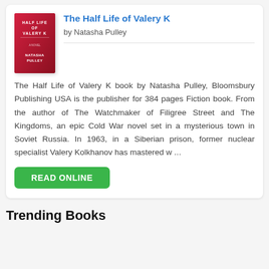[Figure (illustration): Book cover of 'Half Life of Valery K' by Natasha Pulley, red background with white text]
The Half Life of Valery K
by Natasha Pulley
The Half Life of Valery K book by Natasha Pulley, Bloomsbury Publishing USA is the publisher for 384 pages Fiction book. From the author of The Watchmaker of Filigree Street and The Kingdoms, an epic Cold War novel set in a mysterious town in Soviet Russia. In 1963, in a Siberian prison, former nuclear specialist Valery Kolkhanov has mastered w ...
READ ONLINE
Trending Books